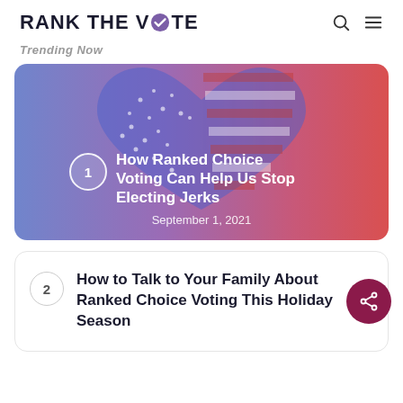RANK THE VOTE
Trending Now
[Figure (illustration): Featured article card with gradient blue-to-red background and American flag heart graphic. Shows article #1: 'How Ranked Choice Voting Can Help Us Stop Electing Jerks' dated September 1, 2021]
How Ranked Choice Voting Can Help Us Stop Electing Jerks
September 1, 2021
How to Talk to Your Family About Ranked Choice Voting This Holiday Season